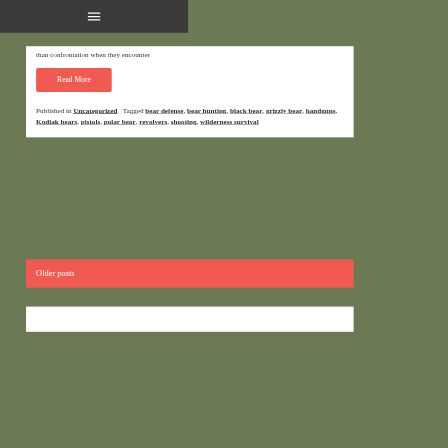≡
than confrontation when they encounter
Read More
Published in Uncategorized  Tagged bear defense, bear hunting, black bear, grizzly bear, handguns, Kodiak bears, pistols, polar bear, revolvers, shooting, wilderness survival
Older posts